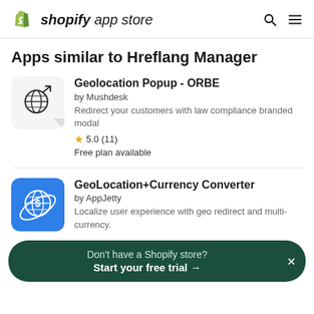shopify app store
Apps similar to Hreflang Manager
Geolocation Popup - ORBE
by Mushdesk
Redirect your customers with law compliance branded modal
5.0 (11)
Free plan available
GeoLocation+Currency Converter
by AppJetty
Localize user experience with geo redirect and multi-currency.
Multi Store Hreflang Tags
Don't have a Shopify store?
Start your free trial →